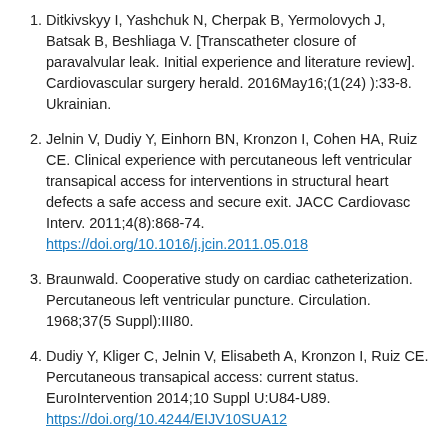Ditkivskyy I, Yashchuk N, Cherpak B, Yermolovych J, Batsak B, Beshliaga V. [Transcatheter closure of paravalvular leak. Initial experience and literature review]. Cardiovascular surgery herald. 2016May16;(1(24) ):33-8. Ukrainian.
Jelnin V, Dudiy Y, Einhorn BN, Kronzon I, Cohen HA, Ruiz CE. Clinical experience with percutaneous left ventricular transapical access for interventions in structural heart defects a safe access and secure exit. JACC Cardiovasc Interv. 2011;4(8):868-74. https://doi.org/10.1016/j.jcin.2011.05.018
Braunwald. Cooperative study on cardiac catheterization. Percutaneous left ventricular puncture. Circulation. 1968;37(5 Suppl):III80.
Dudiy Y, Kliger C, Jelnin V, Elisabeth A, Kronzon I, Ruiz CE. Percutaneous transapical access: current status. EuroIntervention 2014;10 Suppl U:U84-U89. https://doi.org/10.4244/EIJV10SUA12
Walters DL, Sanchez PL, Rodriguez-Alemparte M, Colon-Hernandez PL, Hourigan LA, Palacios IF.